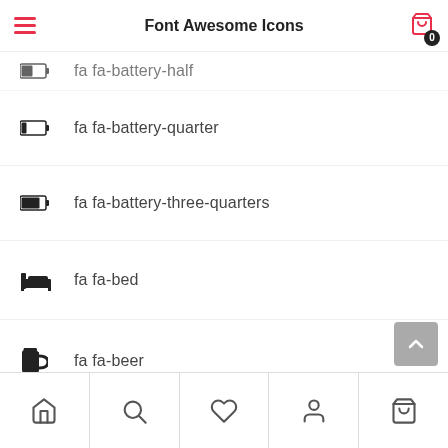Font Awesome Icons
fa fa-battery-half
fa fa-battery-quarter
fa fa-battery-three-quarters
fa fa-bed
fa fa-beer
Home Search Wishlist Account Cart